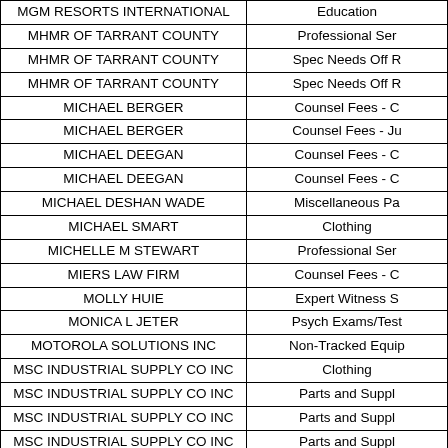| Vendor | Category |
| --- | --- |
| MGM RESORTS INTERNATIONAL | Education |
| MHMR OF TARRANT COUNTY | Professional Ser... |
| MHMR OF TARRANT COUNTY | Spec Needs Off R... |
| MHMR OF TARRANT COUNTY | Spec Needs Off R... |
| MICHAEL BERGER | Counsel Fees - C... |
| MICHAEL BERGER | Counsel Fees - Ju... |
| MICHAEL DEEGAN | Counsel Fees - C... |
| MICHAEL DEEGAN | Counsel Fees - C... |
| MICHAEL DESHAN WADE | Miscellaneous Pa... |
| MICHAEL SMART | Clothing |
| MICHELLE M STEWART | Professional Ser... |
| MIERS LAW FIRM | Counsel Fees - C... |
| MOLLY HUIE | Expert Witness S... |
| MONICA L JETER | Psych Exams/Test... |
| MOTOROLA SOLUTIONS INC | Non-Tracked Equip... |
| MSC INDUSTRIAL SUPPLY CO INC | Clothing |
| MSC INDUSTRIAL SUPPLY CO INC | Parts and Suppl... |
| MSC INDUSTRIAL SUPPLY CO INC | Parts and Suppl... |
| MSC INDUSTRIAL SUPPLY CO INC | Parts and Suppl... |
| MSC INDUSTRIAL SUPPLY CO INC | Parts and Suppl... |
| MSC INDUSTRIAL SUPPLY CO INC | Sheriff Inventor... |
| MSC INDUSTRIAL SUPPLY CO INC | Capital Outlay Lo... |
| MULHOLLAND INDUSTRIES LTD | Supplies |